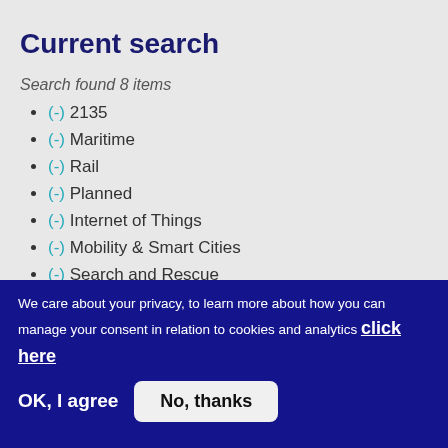Current search
Search found 8 items
(-) 2135
(-) Maritime
(-) Rail
(-) Planned
(-) Internet of Things
(-) Mobility & Smart Cities
(-) Search and Rescue
We care about your privacy, to learn more about how you can manage your consent in relation to cookies and analytics click here
OK, I agree   No, thanks